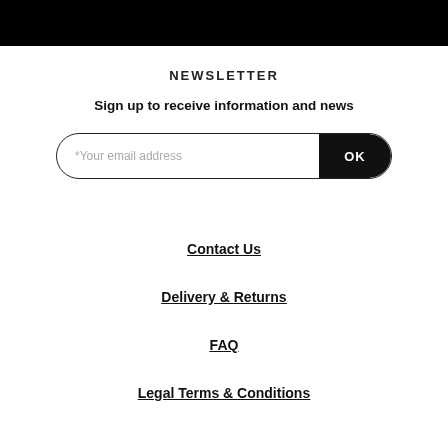NEWSLETTER
Sign up to receive information and news
[Figure (other): Email subscription form with placeholder text '*Your email address' and an OK button on the right, styled as a pill-shaped input field with black OK button]
Contact Us
Delivery & Returns
FAQ
Legal Terms & Conditions